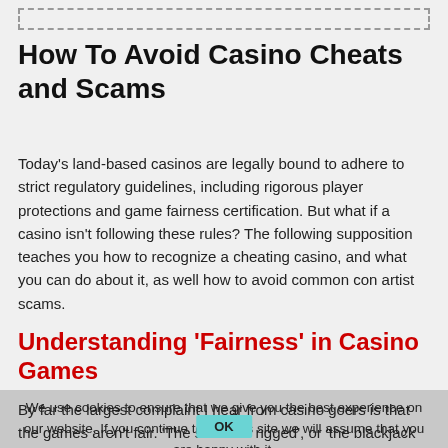How To Avoid Casino Cheats and Scams
Today’s land-based casinos are legally bound to adhere to strict regulatory guidelines, including rigorous player protections and game fairness certification. But what if a casino isn’t following these rules? The following supposition teaches you how to recognize a cheating casino, and what you can do about it, as well how to avoid common con artist scams.
Understanding ‘Fairness’ in Casino Games
By far the largest complaint I hear from casino goers is that the games aren’t fair. ‘The slots are rigged’, or ‘the blackjack deck is stacked’, or ‘the video poker machines never give me the card I need’. ‘They must be cheating!’ What most fail to understand is that they aren’t meant to win in the first place.